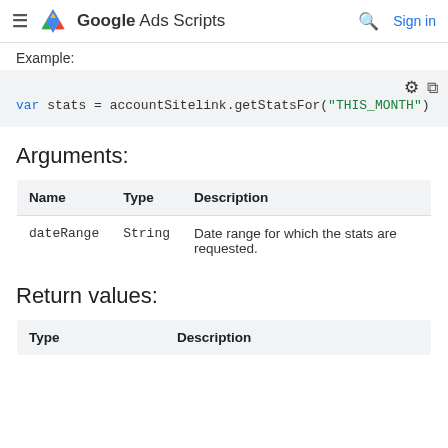Google Ads Scripts
Example:
[Figure (screenshot): Code block showing: var stats = accountSitelink.getStatsFor("THIS_MONTH")]
Arguments:
| Name | Type | Description |
| --- | --- | --- |
| dateRange | String | Date range for which the stats are requested. |
Return values:
| Type | Description |
| --- | --- |